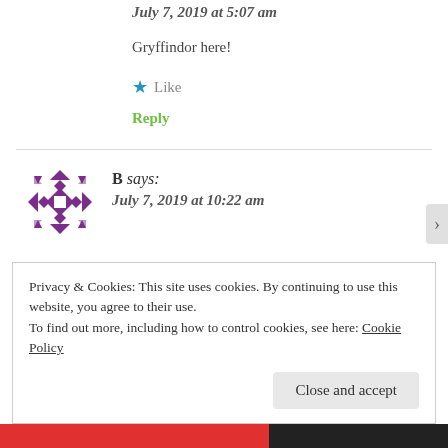July 7, 2019 at 5:07 am
Gryffindor here!
★ Like
Reply
B says: July 7, 2019 at 10:22 am
Privacy & Cookies: This site uses cookies. By continuing to use this website, you agree to their use.
To find out more, including how to control cookies, see here: Cookie Policy
Close and accept